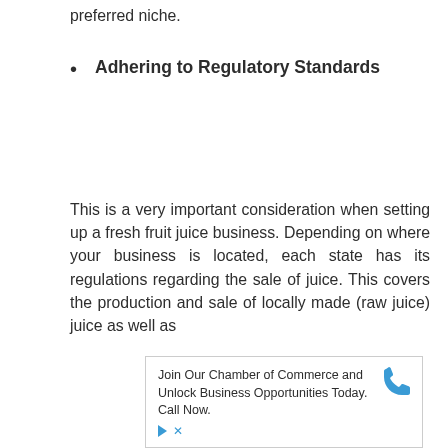preferred niche.
Adhering to Regulatory Standards
This is a very important consideration when setting up a fresh fruit juice business. Depending on where your business is located, each state has its regulations regarding the sale of juice. This covers the production and sale of locally made (raw juice) juice as well as
[Figure (other): Advertisement box with text: Join Our Chamber of Commerce and Unlock Business Opportunities Today. Call Now. With a blue phone icon and blue play/arrow icon and close X icon.]